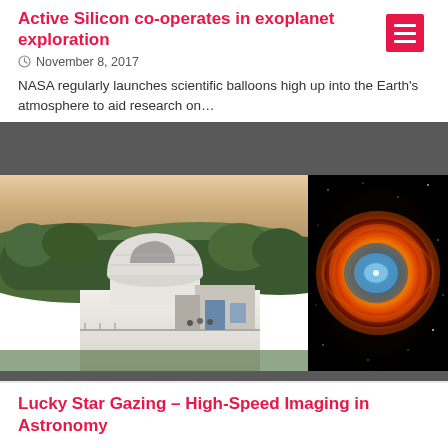Active Silicon co-operates in exoplanet exploration
November 8, 2017
NASA regularly launches scientific balloons high up into the Earth's atmosphere to aid research on…
[Figure (photo): Two side-by-side photos: left shows an aerial view of a white telescope observatory dome surrounded by trees on a hilltop; right shows the Helix Nebula, a ring-shaped nebula with red-orange outer ring and blue-white center against a dark star field.]
Lucky Star Gazing – High-Speed Imaging in Astronomy